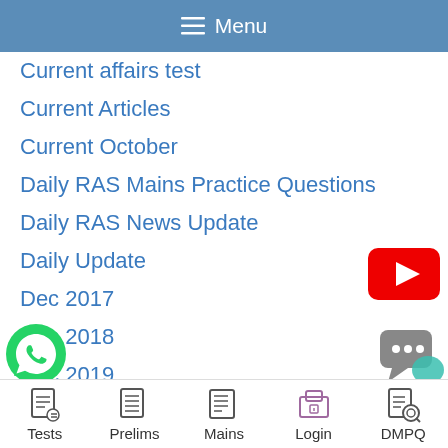Menu
Current affairs test
Current Articles
Current October
Daily RAS Mains Practice Questions
Daily RAS News Update
Daily Update
Dec 2017
Dec 2018
Dec 2019
dec 2021
ecember 2017
ecember 2020
Tests  Prelims  Mains  Login  DMPQ